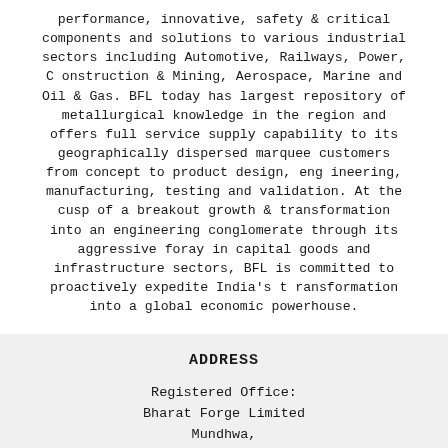performance, innovative, safety & critical components and solutions to various industrial sectors including Automotive, Railways, Power, Construction & Mining, Aerospace, Marine and Oil & Gas. BFL today has largest repository of metallurgical knowledge in the region and offers full service supply capability to its geographically dispersed marquee customers from concept to product design, engineering, manufacturing, testing and validation. At the cusp of a breakout growth & transformation into an engineering conglomerate through its aggressive foray in capital goods and infrastructure sectors, BFL is committed to proactively expedite India's transformation into a global economic powerhouse.
ADDRESS
Registered Office:
Bharat Forge Limited
Mundhwa,
Pune - 411 036 India
CIN: L25209PN1961PLC12046